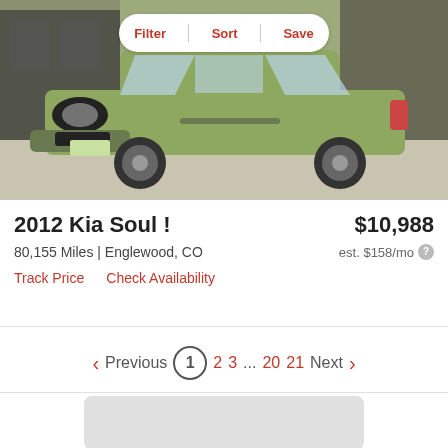[Figure (photo): Photo of a green 2012 Kia Soul parked in a dealership lot, front three-quarter view]
Filter  Sort  Save
2012 Kia Soul !
$10,988
80,155 Miles | Englewood, CO
est. $158/mo
Track Price   Check Availability
Previous  1  2  3  ...  20  21  Next